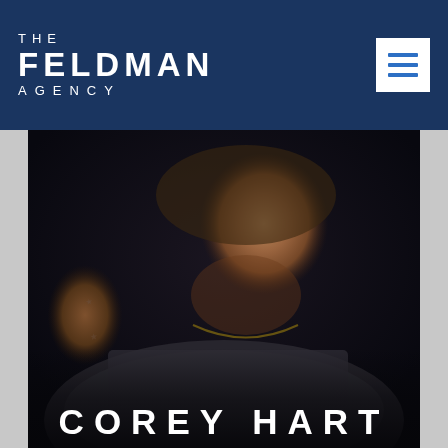THE FELDMAN AGENCY
[Figure (photo): Portrait photo of Corey Hart, a man with a beard and tattoos on his arm, hand raised behind his head, wearing a grey sweatshirt, dark background. White text 'COREY HART' overlaid at the bottom.]